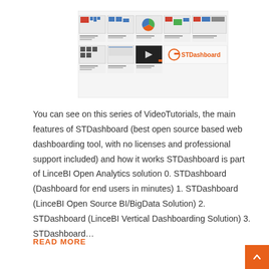[Figure (screenshot): A screenshot showing a series of video tutorials for STDashboard, displaying thumbnail images of dashboards with charts and the STDashboard logo in orange.]
You can see on this series of VideoTutorials, the main features of STDashboard (best open source based web dashboarding tool, with no licenses and professional support included) and how it works STDashboard is part of LinceBI Open Analytics solution 0. STDashboard (Dashboard for end users in minutes) 1. STDashboard (LinceBI Open Source BI/BigData Solution) 2. STDashboard (LinceBI Vertical Dashboarding Solution) 3. STDashboard…
READ MORE